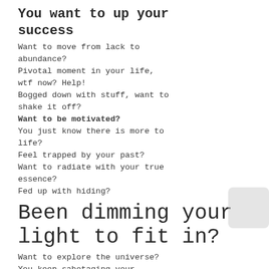You want to up your success
Want to move from lack to abundance?
Pivotal moment in your life, wtf now? Help!
Bogged down with stuff, want to shake it off?
Want to be motivated?
You just know there is more to life?
Feel trapped by your past?
Want to radiate with your true essence?
Fed up with hiding?
Been dimming your light to fit in?
Want to explore the universe?
You keep sabotaging your success?
Increased self-awareness and